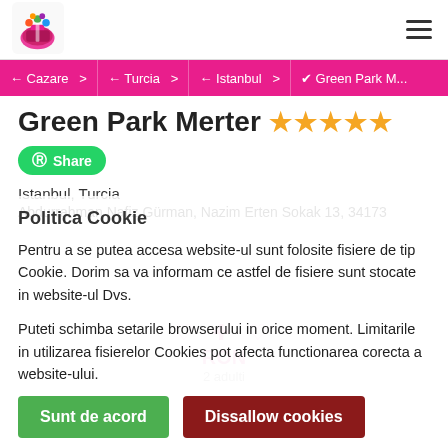Logo | Navigation menu
← Cazare >  ← Turcia >  ← Istanbul >  ✔ Green Park M...
Green Park Merter ★★★★★
Share
Istanbul, Turcia
Abdurrahman Nafiz Gürman, Nazim Erten Sokak 13, 34173
Politica Cookie
Pentru a se putea accesa website-ul sunt folosite fisiere de tip Cookie. Dorim sa va informam ce astfel de fisiere sunt stocate in website-ul Dvs.
Puteti schimba setarile browserului in orice moment. Limitarile in utilizarea fisierelor Cookies pot afecta functionarea corecta a website-ului.
Sunt de acord
Dissallow cookies